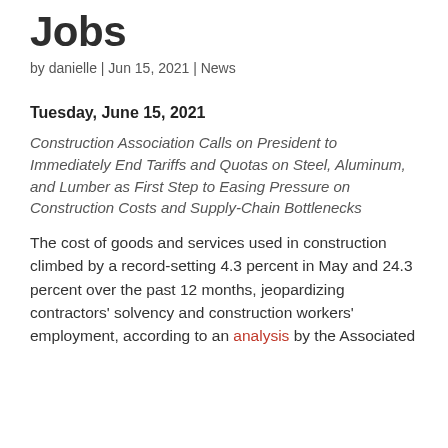Jobs
by danielle | Jun 15, 2021 | News
Tuesday, June 15, 2021
Construction Association Calls on President to Immediately End Tariffs and Quotas on Steel, Aluminum, and Lumber as First Step to Easing Pressure on Construction Costs and Supply-Chain Bottlenecks
The cost of goods and services used in construction climbed by a record-setting 4.3 percent in May and 24.3 percent over the past 12 months, jeopardizing contractors' solvency and construction workers' employment, according to an analysis by the Associated